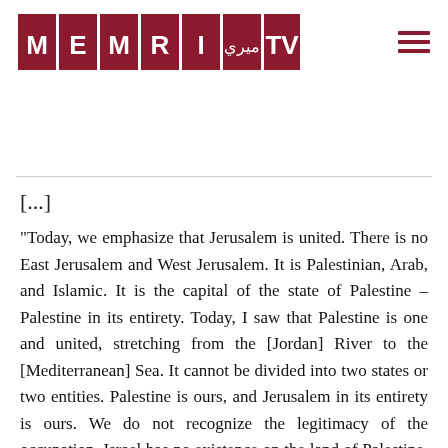MEMRI TV (logo)
[...]
"Today, we emphasize that Jerusalem is united. There is no East Jerusalem and West Jerusalem. It is Palestinian, Arab, and Islamic. It is the capital of the state of Palestine – Palestine in its entirety. Today, I saw that Palestine is one and united, stretching from the [Jordan] River to the [Mediterranean] Sea. It cannot be divided into two states or two entities. Palestine is ours, and Jerusalem in its entirety is ours. We do not recognize the legitimacy of the occupation. Israel has no existence on the land of Palestine. It has no existence on the land of Palestine and thus,